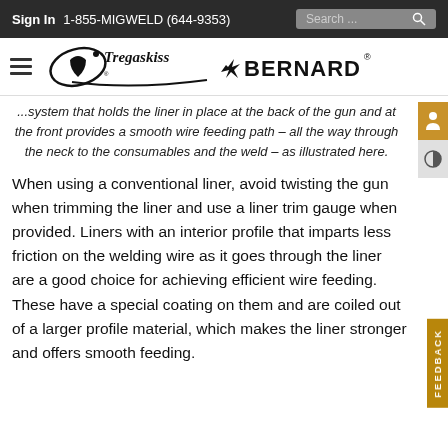Sign In  1-855-MIGWELD (644-9353)  Search...
[Figure (logo): Tregaskiss and Bernard welding brand logos with hamburger menu icon]
...system that holds the liner in place at the back of the gun and at the front provides a smooth wire feeding path – all the way through the neck to the consumables and the weld – as illustrated here.
When using a conventional liner, avoid twisting the gun when trimming the liner and use a liner trim gauge when provided. Liners with an interior profile that imparts less friction on the welding wire as it goes through the liner are a good choice for achieving efficient wire feeding. These have a special coating on them and are coiled out of a larger profile material, which makes the liner stronger and offers smooth feeding.